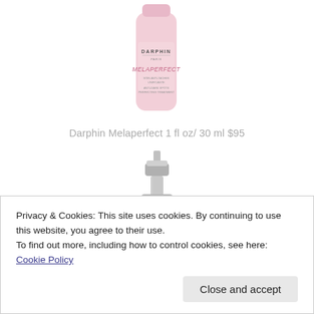[Figure (photo): Darphin Melaperfect pink bottle product photo]
Darphin Melaperfect 1 fl oz/ 30 ml $95
[Figure (photo): Silver pump dispenser product photo]
Privacy & Cookies: This site uses cookies. By continuing to use this website, you agree to their use.
To find out more, including how to control cookies, see here: Cookie Policy
[Figure (photo): Partial product image at bottom of page]